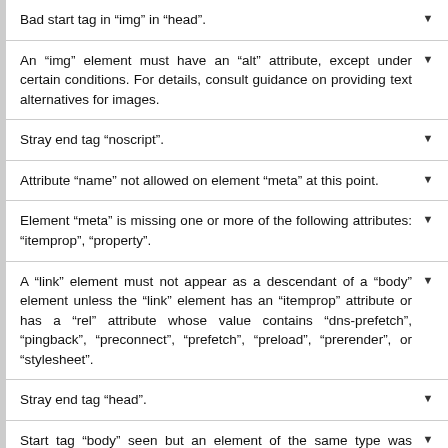Bad start tag in “img” in “head”.
An “img” element must have an “alt” attribute, except under certain conditions. For details, consult guidance on providing text alternatives for images.
Stray end tag “noscript”.
Attribute “name” not allowed on element “meta” at this point.
Element “meta” is missing one or more of the following attributes: “itemprop”, “property”.
A “link” element must not appear as a descendant of a “body” element unless the “link” element has an “itemprop” attribute or has a “rel” attribute whose value contains “dns-prefetch”, “pingback”, “preconnect”, “prefetch”, “preload”, “prerender”, or “stylesheet”.
Stray end tag “head”.
Start tag “body” seen but an element of the same type was already open.
Cannot recover after last error. Any further errors will be ignored.